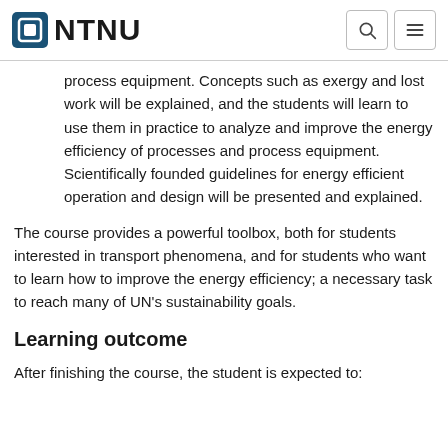NTNU
process equipment. Concepts such as exergy and lost work will be explained, and the students will learn to use them in practice to analyze and improve the energy efficiency of processes and process equipment. Scientifically founded guidelines for energy efficient operation and design will be presented and explained.
The course provides a powerful toolbox, both for students interested in transport phenomena, and for students who want to learn how to improve the energy efficiency; a necessary task to reach many of UN's sustainability goals.
Learning outcome
After finishing the course, the student is expected to: